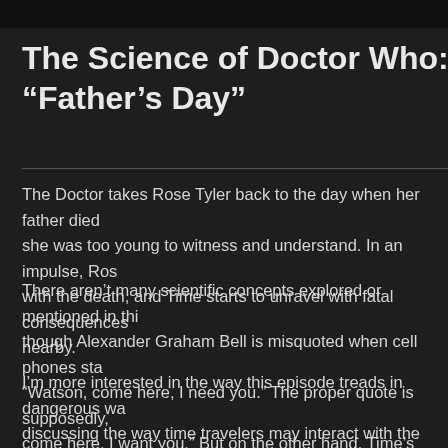The Science of Doctor Who: s01e08, “Father’s Day”
The Doctor takes Rose Tyler back to the day when her father died she was too young to witness and understand. In an impulse, Ros with the death, and Time starts to unravel with fatal consequences nearby.
There aren’t many scientific concepts explored or mentioned in thi though Alexander Graham Bell is misquoted when cell phones sta “Watson, come here, I need you.” The proper quote is supposedly, come here, I want you.” But on the other hand, Time’s damaged, s an alternate Bell speaking? As nitpicks go, that’s easily addressed
I’m more interested in the way this episode treads in dangerous wa discussing the way time travelers may interact with the world in the future. It’s a question that rarely bears serious examination, becau quickly don’t make sense. The show has contradicted itself many t